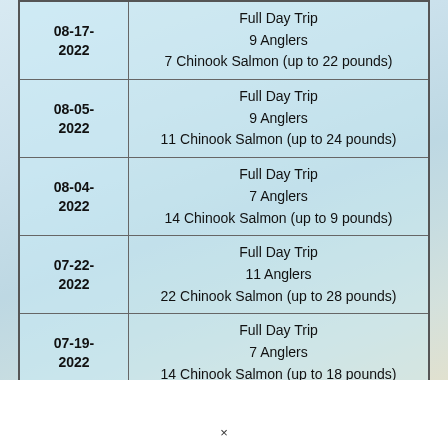| Date | Trip Info |
| --- | --- |
| 08-17-2022 | Full Day Trip
9 Anglers
7 Chinook Salmon (up to 22 pounds) |
| 08-05-2022 | Full Day Trip
9 Anglers
11 Chinook Salmon (up to 24 pounds) |
| 08-04-2022 | Full Day Trip
7 Anglers
14 Chinook Salmon (up to 9 pounds) |
| 07-22-2022 | Full Day Trip
11 Anglers
22 Chinook Salmon (up to 28 pounds) |
| 07-19-2022 | Full Day Trip
7 Anglers
14 Chinook Salmon (up to 18 pounds) |
×